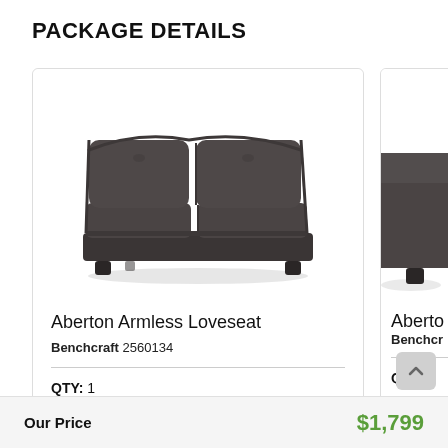PACKAGE DETAILS
[Figure (photo): Dark gray leather armless loveseat with two seat cushions and two back cushions, viewed at a slight angle. No armrests. Sits on four small dark wooden legs.]
Aberton Armless Loveseat
Benchcraft 2560134
QTY: 1
[Figure (photo): Partial view of a dark gray leather ottoman or seat section, right side clipped by page edge.]
Aberto
Benchcr
QTY: 1
Our Price
$1,799